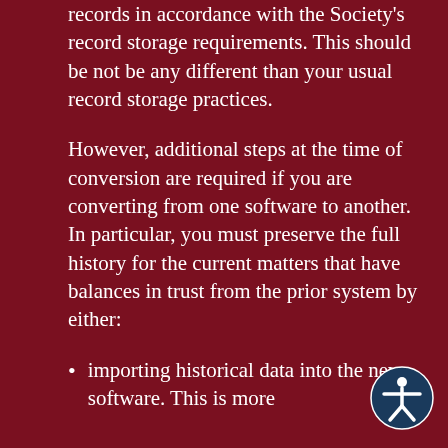records in accordance with the Society's record storage requirements.  This should be not be any different than your usual record storage practices.
However, additional steps at the time of conversion are required if you are converting from one software to another.  In particular, you must preserve the full history for the current matters that have balances in trust from the prior system by either:
importing historical data into the new software.  This is more